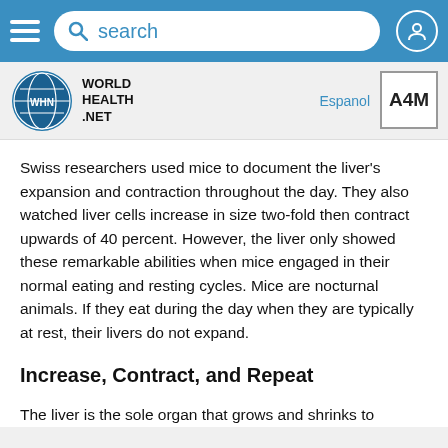search
[Figure (logo): World Health Net logo with WHN globe icon and A4M partner logo, with Espanol link]
Swiss researchers used mice to document the liver's expansion and contraction throughout the day. They also watched liver cells increase in size two-fold then contract upwards of 40 percent. However, the liver only showed these remarkable abilities when mice engaged in their normal eating and resting cycles. Mice are nocturnal animals. If they eat during the day when they are typically at rest, their livers do not expand.
Increase, Contract, and Repeat
The liver is the sole organ that grows and shrinks to